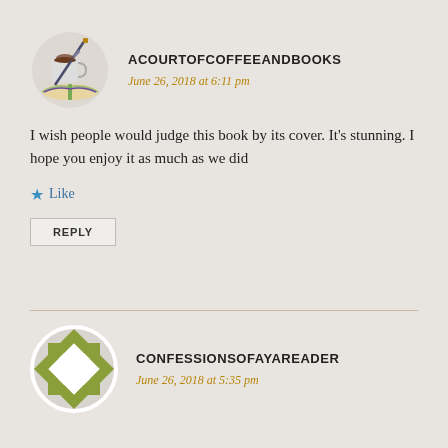[Figure (illustration): Avatar/profile image showing a coffee cup with a sword and open book illustration]
ACOURTOFCOFFEEANDBOOKS
June 26, 2018 at 6:11 pm
I wish people would judge this book by its cover. It's stunning. I hope you enjoy it as much as we did
Like
REPLY
[Figure (logo): Avatar/profile image with a geometric quilt-block pattern in white and olive green diamond shapes]
CONFESSIONSOFAYAREADER
June 26, 2018 at 5:35 pm